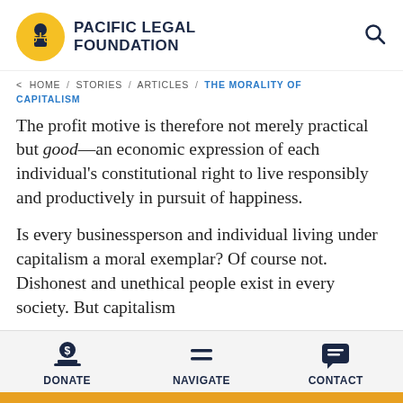PACIFIC LEGAL FOUNDATION
< HOME / STORIES / ARTICLES / THE MORALITY OF CAPITALISM
The profit motive is therefore not merely practical but good—an economic expression of each individual's constitutional right to live responsibly and productively in pursuit of happiness.
Is every businessperson and individual living under capitalism a moral exemplar? Of course not. Dishonest and unethical people exist in every society. But capitalism
DONATE   NAVIGATE   CONTACT